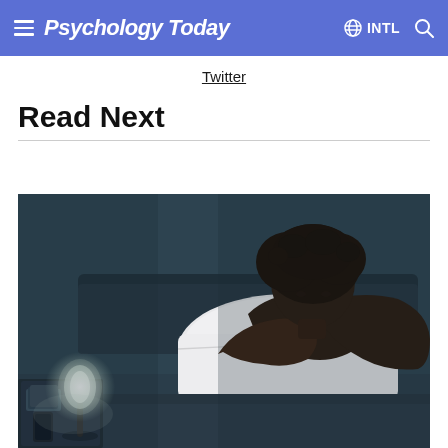Psychology Today  INTL
Twitter
Read Next
[Figure (photo): A Black woman with short natural hair sits on a bed at night, hugging a pillow to her chest and looking downward. A small white glowing lamp illuminates a nightstand with books and a phone. The bedroom has a dark, muted teal/blue color palette suggesting insomnia or distress.]